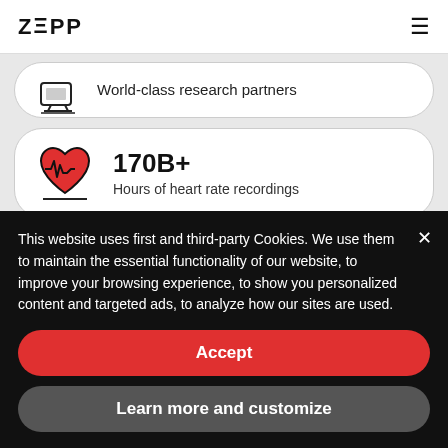ZEPP
World-class research partners
170B+ Hours of heart rate recordings
64M+
This website uses first and third-party Cookies. We use them to maintain the essential functionality of our website, to improve your browsing experience, to show you personalized content and targeted ads, to analyze how our sites are used.
Accept
Learn more and customize